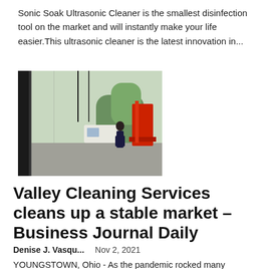Sonic Soak Ultrasonic Cleaner is the smallest disinfection tool on the market and will instantly make your life easier.This ultrasonic cleaner is the latest innovation in...
[Figure (photo): Outdoor scene showing a person standing near large glass windows or doors with red scaffolding/equipment, trucks in background, daytime.]
Valley Cleaning Services cleans up a stable market – Business Journal Daily
Denise J. Vasqu...   Nov 2, 2021
YOUNGSTOWN, Ohio - As the pandemic rocked many industries one emerged virtually flawless. Local cleaning companies are